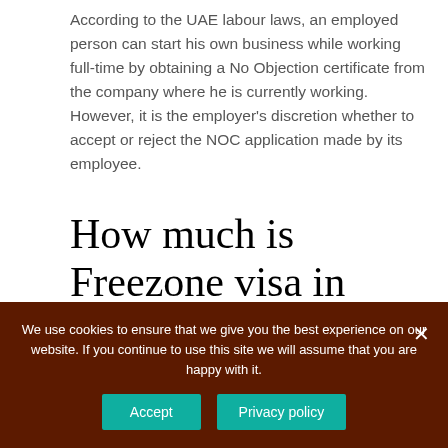According to the UAE labour laws, an employed person can start his own business while working full-time by obtaining a No Objection certificate from the company where he is currently working. However, it is the employer's discretion whether to accept or reject the NOC application made by its employee.
How much is Freezone visa in UAE?
The cost of visa in Dubai south is AED 2500 but at the
We use cookies to ensure that we give you the best experience on our website. If you continue to use this site we will assume that you are happy with it.